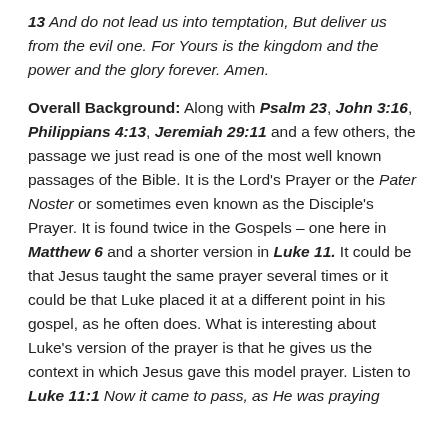13 And do not lead us into temptation, But deliver us from the evil one. For Yours is the kingdom and the power and the glory forever. Amen.
Overall Background: Along with Psalm 23, John 3:16, Philippians 4:13, Jeremiah 29:11 and a few others, the passage we just read is one of the most well known passages of the Bible. It is the Lord's Prayer or the Pater Noster or sometimes even known as the Disciple's Prayer. It is found twice in the Gospels – one here in Matthew 6 and a shorter version in Luke 11. It could be that Jesus taught the same prayer several times or it could be that Luke placed it at a different point in his gospel, as he often does. What is interesting about Luke's version of the prayer is that he gives us the context in which Jesus gave this model prayer. Listen to Luke 11:1 Now it came to pass, as He was praying